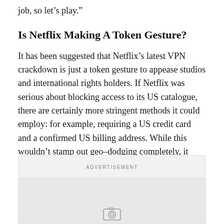job, so let’s play.”
Is Netflix Making A Token Gesture?
It has been suggested that Netflix’s latest VPN crackdown is just a token gesture to appease studios and international rights holders. If Netflix was serious about blocking access to its US catalogue, there are certainly more stringent methods it could employ: for example, requiring a US credit card and a confirmed US billing address. While this wouldn’t stamp out geo-dodging completely, it would make it more difficult for the average user.
[Figure (other): Advertisement placeholder box with ADVERTISEMENT label and camera icon at bottom]